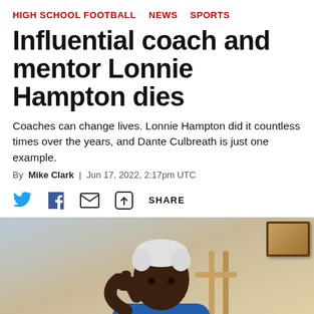HIGH SCHOOL FOOTBALL   NEWS   SPORTS
Influential coach and mentor Lonnie Hampton dies
Coaches can change lives. Lonnie Hampton did it countless times over the years, and Dante Culbreath is just one example.
By Mike Clark | Jun 17, 2022, 2:17pm UTC
[Figure (other): Social share icons: Twitter bird, Facebook f, Email envelope, Share icon with SHARE label]
[Figure (photo): An elderly man with white hair wearing a blue shirt, sitting in a wooden chair with his hand raised to his face, photographed indoors with a framed picture visible on the wall behind him.]